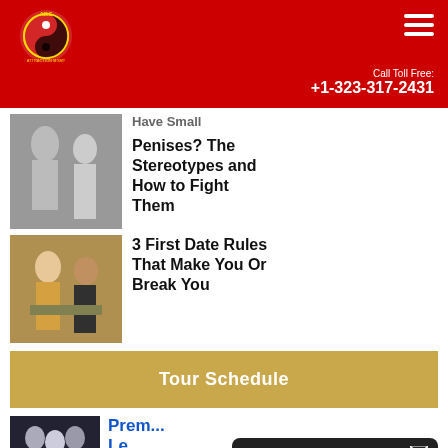ABC Attraction Management Office | Call Toll Free: +1-323-317-2431
Have Small Penises? The Stereotypes and How to Fight Them
3 First Date Rules That Make You Or Break You
Tour Schedule
Prem... Le...
Have Questions Or Need Help?